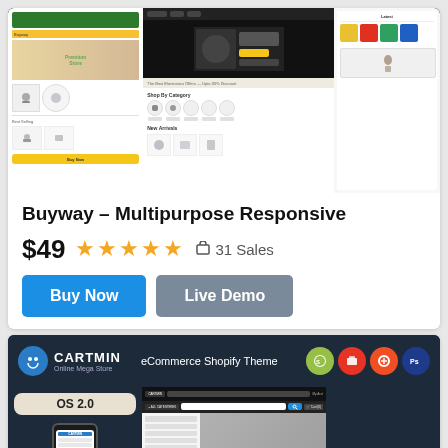[Figure (screenshot): Buyway multipurpose responsive eCommerce theme screenshot showing multiple store layouts with product grids, banners, and navigation]
Buyway – Multipurpose Responsive
$49 ★★★★★ 31 Sales
Buy Now | Live Demo
[Figure (screenshot): Cartmin eCommerce Shopify Theme screenshot showing OS 2.0 badge, mobile view, navigation with categories, and FLAT 50% OFFER ON SPEAKER'S banner]